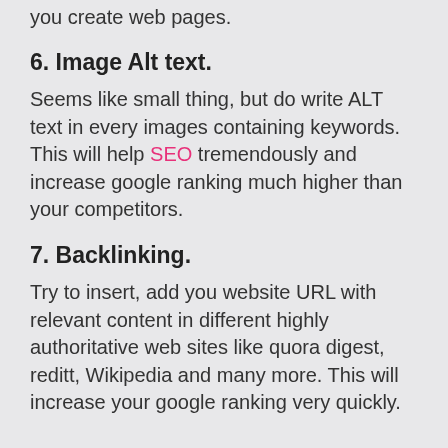you create web pages.
6. Image Alt text.
Seems like small thing, but do write ALT text in every images containing keywords. This will help SEO tremendously and increase google ranking much higher than your competitors.
7. Backlinking.
Try to insert, add you website URL with relevant content in different highly authoritative web sites like quora digest, reditt, Wikipedia and many more. This will increase your google ranking very quickly.